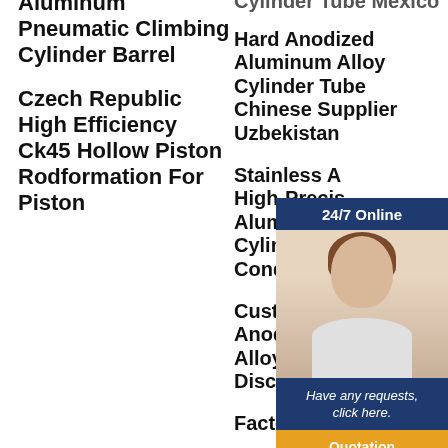Aluminum Pneumatic Climbing Cylinder Barrel
Czech Republic High Efficiency Ck45 Hollow Piston Rodformation For Piston
Cylinder Tube Mexico
Hard Anodized Aluminum Alloy Cylinder Tube Chinese Supplier Uzbekistan
Stainless A... High-Precis... Aluminum Cylinder Fo... Conditione...
Custom Siz... Anodized A... Alloy Cylin... Discount Togo
Factory Wholesale
[Figure (other): Customer service widget overlay showing a woman with headset, '24/7 Online' header, 'Have any requests, click here.' message, and a 'Quotation' button]